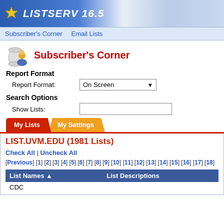LISTSERV 16.5
Subscriber's Corner   Email Lists
Subscriber's Corner
Report Format
Report Format:   On Screen
Search Options
Show Lists:
My Lists   My Settings
LIST.UVM.EDU (1981 Lists)
Check All | Uncheck All
[Previous] [1] [2] [3] [4] [5] [6] [7] [8] [9] [10] [11] [12] [13] [14] [15] [16] [17] [18]
| List Names ▲ | List Descriptions |
| --- | --- |
| CDC |  |